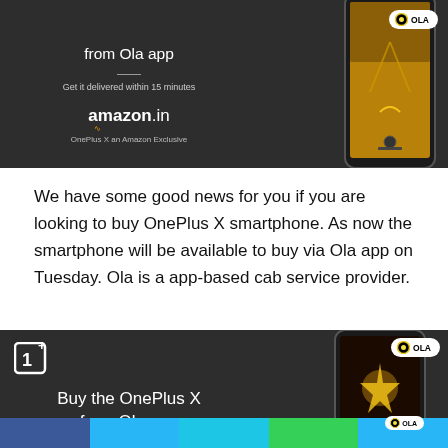[Figure (advertisement): OnePlus X ad banner - dark background with phone image, Amazon.in logo, Ola badge, 'from Ola app', 'Get it delivered within 15 minutes', 'OnePlus X an Amazon Exclusive']
We have some good news for you if you are looking to buy OnePlus X smartphone. As now the smartphone will be available to buy via Ola app on Tuesday. Ola is a app-based cab service provider.
[Figure (advertisement): OnePlus X bottom ad - dark background with OnePlus logo, Ola badge, 'Buy the OnePlus X from Ola app', phone image]
[Figure (infographic): Social media sharing bar with colored blocks: blue, light blue, sky blue, green, light blue]